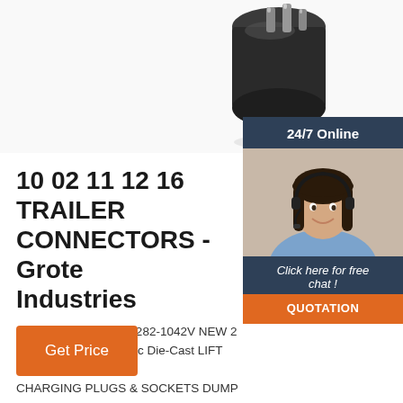[Figure (photo): Close-up photo of a black electrical trailer connector plug with metal pins visible against a white background]
[Figure (other): 24/7 Online chat widget showing a smiling woman wearing a headset with a 'Click here for free chat!' call-to-action and orange QUOTATION button]
10 02 11 12 16 TRAILER CONNECTORS - Grote Industries
2021-7-16u2002·u200282-1042V NEW 2 Spring – Dual Pole Zinc Die-Cast LIFT GA CHARGING PLUGS & SOCKETS DUMP & TARP TRAILER PLUGS & SOCKETS VERTICAL PIN PART # SOCKET # DESCRIPTION MATERIAL 82-1041V NEW 2 Socket – Dual Pole Zinc Die-Cast 82 ...
Get Price